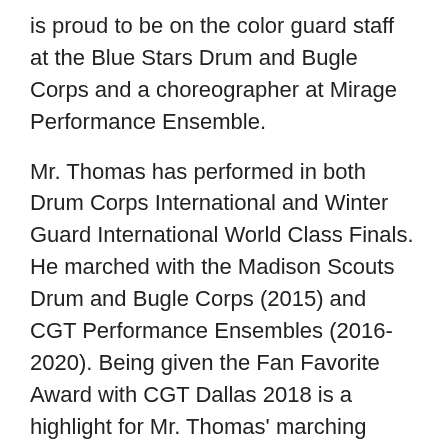is proud to be on the color guard staff at the Blue Stars Drum and Bugle Corps and a choreographer at Mirage Performance Ensemble.
Mr. Thomas has performed in both Drum Corps International and Winter Guard International World Class Finals. He marched with the Madison Scouts Drum and Bugle Corps (2015) and CGT Performance Ensembles (2016-2020). Being given the Fan Favorite Award with CGT Dallas 2018 is a highlight for Mr. Thomas' marching career.
Mr. Thomas received his Bachelor's Degree in Visual Communication from Texas A&M University – Commerce in 2017. While at Commerce, Mr. Thomas was a member of the Pride Marching Band playing the euphonium. Mr. Thomas has professional affiliations